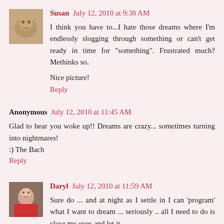Susan July 12, 2010 at 9:38 AM
I think you have to...I hate those dreams where I'm endlessly slogging through something or can't get ready in time for "something". Frustrated much? Methinks so.
Nice picture!
Reply
Anonymous July 12, 2010 at 11:45 AM
Glad to hear you woke up!! Dreams are crazy... sometimes turning into nightmares!
:) The Bach
Reply
Daryl July 12, 2010 at 11:59 AM
Sure do ... and at night as I settle in I can 'program' what I want to dream ... seriously .. all I need to do is close my eyes and let it